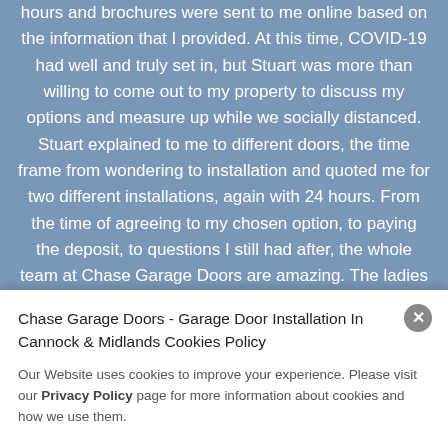hours and brochures were sent to me online based on the information that I provided. At this time, COVID-19 had well and truly set in, but Stuart was more than willing to come out to my property to discuss my options and measure up while we socially distanced. Stuart explained to me to different doors, the time frame from wondering to installation and quoted me for two different installations, again with 24 hours. From the time of agreeing to my chosen option, to paying the deposit, to questions I still had after, the whole team at Chase Garage Doors are amazing. The ladies in the office, thank you for always being well mannered and polite, all questions were answered quickly and efficiently. To Stuart, who owns this company, you have a fantastic business. To the fitters on the day, who again were well mannered, allowed my son to w...
Chase Garage Doors - Garage Door Installation In Cannock & Midlands Cookies Policy
Our Website uses cookies to improve your experience. Please visit our Privacy Policy page for more information about cookies and how we use them.